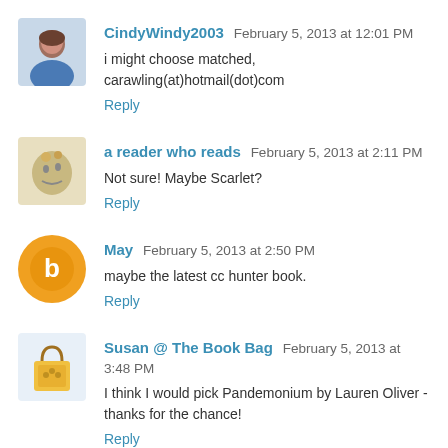CindyWindy2003 February 5, 2013 at 12:01 PM
i might choose matched, carawling(at)hotmail(dot)com
Reply
a reader who reads February 5, 2013 at 2:11 PM
Not sure! Maybe Scarlet?
Reply
May February 5, 2013 at 2:50 PM
maybe the latest cc hunter book.
Reply
Susan @ The Book Bag February 5, 2013 at 3:48 PM
I think I would pick Pandemonium by Lauren Oliver - thanks for the chance!
Reply